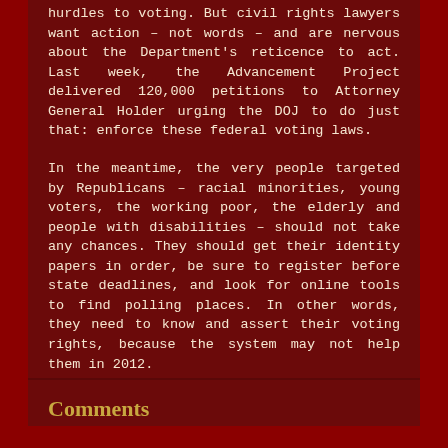hurdles to voting. But civil rights lawyers want action – not words – and are nervous about the Department's reticence to act. Last week, the Advancement Project delivered 120,000 petitions to Attorney General Holder urging the DOJ to do just that: enforce these federal voting laws.
In the meantime, the very people targeted by Republicans – racial minorities, young voters, the working poor, the elderly and people with disabilities – should not take any chances. They should get their identity papers in order, be sure to register before state deadlines, and look for online tools to find polling places. In other words, they need to know and assert their voting rights, because the system may not help them in 2012.
Steven Rosenfeld covers democracy issues for AlterNet and is the author of “Count My Vote: A Citizen’s Guide to Voting” (AlterNet Books, 2008).
Comments